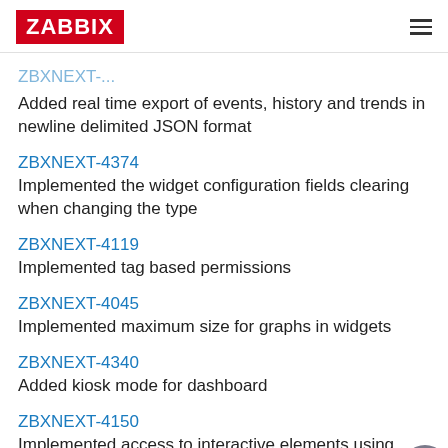ZABBIX
Added real time export of events, history and trends in newline delimited JSON format
ZBXNEXT-4374
Implemented the widget configuration fields clearing when changing the type
ZBXNEXT-4119
Implemented tag based permissions
ZBXNEXT-4045
Implemented maximum size for graphs in widgets
ZBXNEXT-4340
Added kiosk mode for dashboard
ZBXNEXT-4150
Implemented access to interactive elements using keyboard